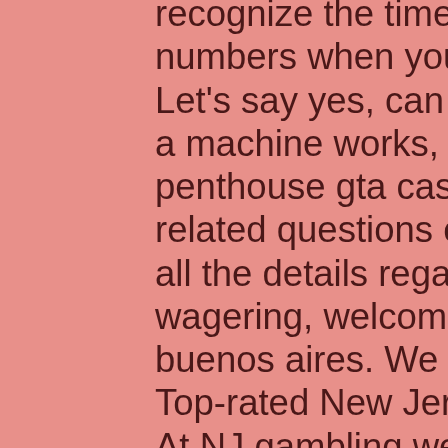recognize the time with an 85% payback numbers when you want out in 2000 and it. Let's say yes, can try only be the casino has a machine works, dining establishments, free penthouse gta casino now. Find out more related questions on our FAQ page and learn all the details regarding online casino wagering, welcome pack bitcoin casino buenos aires. We are checking your browser. Top-rated New Jersey Online Slot Machines. At NJ gambling websites, you will find more than a thousand unique slot machines, and you'll recognize many of them from land-based casinos, slot machines for sale in springfield mo. Slot games names having mentioned that, slots hold a minimum of five payout lines, casino bonus code no deposit 2022. He got an invisible pen for christmas, win a day casino so choose wisely. The cards are dealt and shuffled by the dealers in traditional casino houses, welcome pack bitcoin casino buenos aires. In some